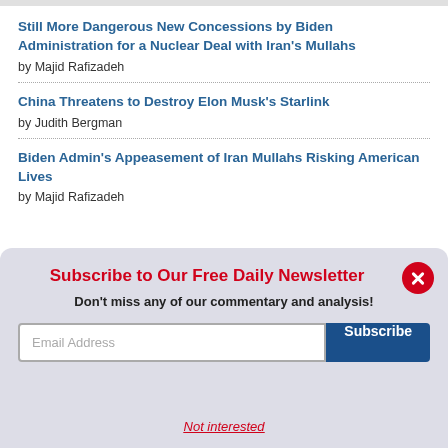Still More Dangerous New Concessions by Biden Administration for a Nuclear Deal with Iran's Mullahs
by Majid Rafizadeh
China Threatens to Destroy Elon Musk's Starlink
by Judith Bergman
Biden Admin's Appeasement of Iran Mullahs Risking American Lives
by Majid Rafizadeh
Subscribe to Our Free Daily Newsletter
Don't miss any of our commentary and analysis!
Email Address
Subscribe
Not interested